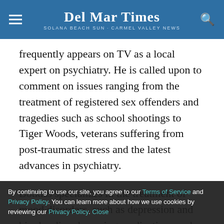Del Mar Times | Solana Beach Sun-Carmel Valley News
frequently appears on TV as a local expert on psychiatry. He is called upon to comment on issues ranging from the treatment of registered sex offenders and tragedies such as school shootings to Tiger Woods, veterans suffering from post-traumatic stress and the latest advances in psychiatry.
Botkiss specializes in the treatment of mood disorders, such as depression and bipolar disorder, using medications and brain stimulation technologies, specifically electroconvulsive therapy (ECT), which is life-threatening depression.
By continuing to use our site, you agree to our Terms of Service and Privacy Policy. You can learn more about how we use cookies by reviewing our Privacy Policy. Close